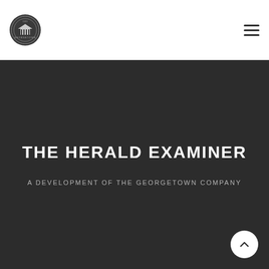[Figure (logo): Georgetown Company circular seal/logo in dark grey]
THE HERALD EXAMINER
A DEVELOPMENT OF THE GEORGETOWN COMPANY